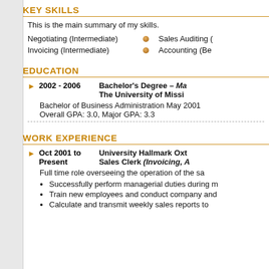KEY SKILLS
This is the main summary of my skills.
Negotiating (Intermediate)
Sales Auditing (
Invoicing (Intermediate)
Accounting (Be
EDUCATION
2002 - 2006   Bachelor's Degree – Ma  The University of Missi
Bachelor of Business Administration May 2001  Overall GPA: 3.0, Major GPA: 3.3
WORK EXPERIENCE
Oct 2001 to Present   University Hallmark Oxt  Sales Clerk (Invoicing, A
Full time role overseeing the operation of the sa
Successfully perform managerial duties during m
Train new employees and conduct company and
Calculate and transmit weekly sales reports to